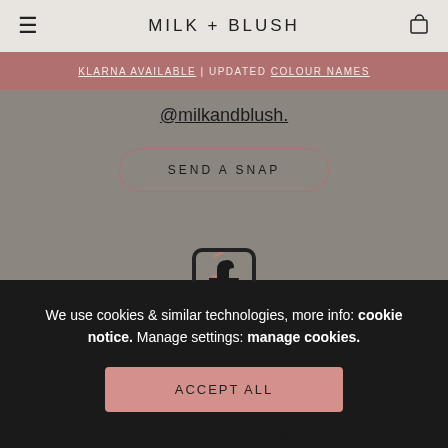MILK + BLUSH
KLARNA AVAILABLE | UPDATED COLOUR NAMES @milkandblush.
@milkandblush.
SEND A SNAP
[Figure (logo): Facebook 'f' logo icon in dark outline style]
We use cookies & similar technologies, more info: cookie notice. Manage settings: manage cookies.
ACCEPT ALL
FACEBOOK